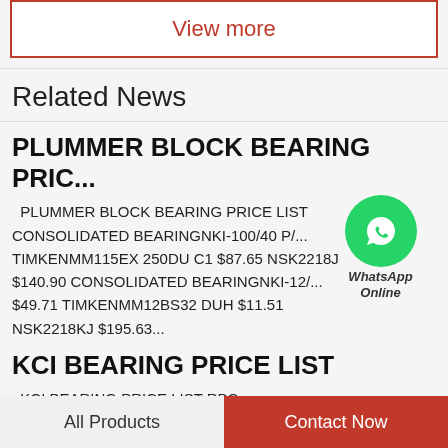View more
Related News
PLUMMER BLOCK BEARING PRIC...
PLUMMER BLOCK BEARING PRICE LIST CONSOLIDATED BEARINGNKI-100/40 P/... $7.80 TIMKENMM115EX 250DU C1 $87.65 NSK2218J $140.90 CONSOLIDATED BEARINGNKI-12/... $49.71 TIMKENMM12BS32 DUH $11.51 NSK2218KJ $195.63...
KCI BEARING PRICE LIST
KCI BEARING PRICE LIST RBC
All Products
Contact Now